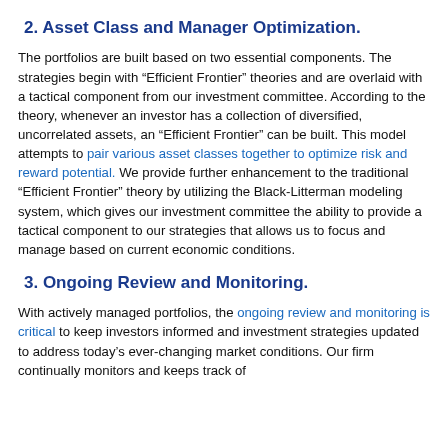2. Asset Class and Manager Optimization.
The portfolios are built based on two essential components. The strategies begin with “Efficient Frontier” theories and are overlaid with a tactical component from our investment committee. According to the theory, whenever an investor has a collection of diversified, uncorrelated assets, an “Efficient Frontier” can be built. This model attempts to pair various asset classes together to optimize risk and reward potential. We provide further enhancement to the traditional “Efficient Frontier” theory by utilizing the Black-Litterman modeling system, which gives our investment committee the ability to provide a tactical component to our strategies that allows us to focus and manage based on current economic conditions.
3. Ongoing Review and Monitoring.
With actively managed portfolios, the ongoing review and monitoring is critical to keep investors informed and investment strategies updated to address today’s ever-changing market conditions. Our firm continually monitors and keeps track of...